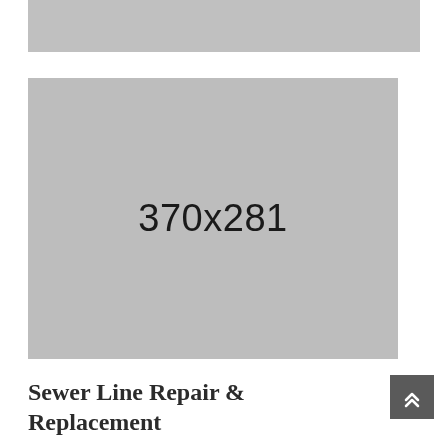[Figure (photo): Gray placeholder image at top of page, cropped/partial view]
[Figure (photo): Gray placeholder image showing dimensions 370x281]
Sewer Line Repair & Replacement